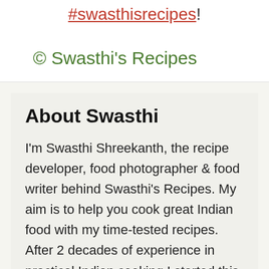#swasthisrecipes!
© Swasthi's Recipes
About Swasthi
I'm Swasthi Shreekanth, the recipe developer, food photographer & food writer behind Swasthi's Recipes. My aim is to help you cook great Indian food with my time-tested recipes. After 2 decades of experience in practical Indian cooking I started this blog